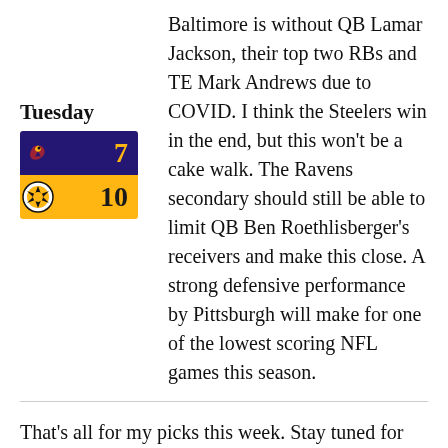[Figure (other): Score box showing Tuesday matchup: Baltimore Ravens 7 vs Pittsburgh Steelers 10, with team logos and colored backgrounds (purple for Ravens, gold for Steelers)]
Baltimore is without QB Lamar Jackson, their top two RBs and TE Mark Andrews due to COVID. I think the Steelers win in the end, but this won't be a cake walk. The Ravens secondary should still be able to limit QB Ben Roethlisberger's receivers and make this close. A strong defensive performance by Pittsburgh will make for one of the lowest scoring NFL games this season.
That's all for my picks this week. Stay tuned for more NFL coverage soon.